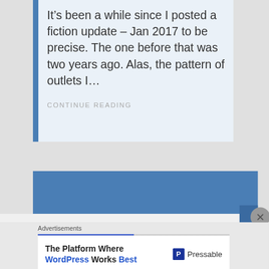It’s been a while since I posted a fiction update – Jan 2017 to be precise. The one before that was two years ago. Alas, the pattern of outlets I…
CONTINUE READING
[Figure (screenshot): Blue banner advertisement area with close button (X)]
Advertisements
[Figure (screenshot): Pressable advertisement: The Platform Where WordPress Works Best]